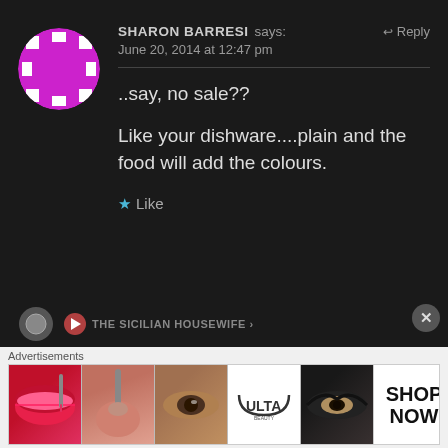[Figure (illustration): Round avatar icon with magenta/pink background and white square pixel pattern]
SHARON BARRESI says:  ↩ Reply
June 20, 2014 at 12:47 pm
..say, no sale??
Like your dishware....plain and the food will add the colours.
★ Like
[Figure (screenshot): Partial next comment bar with avatar and partially visible text THE SICILIAN HOUSEWIFE]
[Figure (photo): Ulta beauty advertisement banner with makeup images and SHOP NOW text]